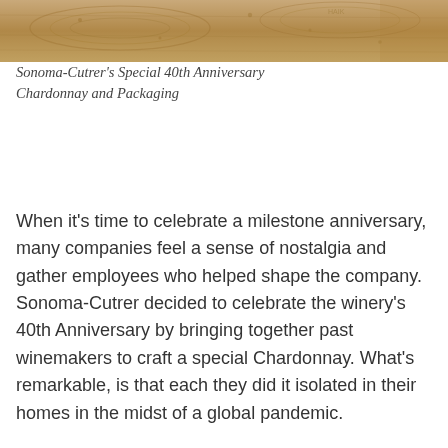[Figure (photo): Close-up photo of textured wooden or cork surface in tan/brown tones, cropped at top of page]
Sonoma-Cutrer's Special 40th Anniversary Chardonnay and Packaging
When it's time to celebrate a milestone anniversary, many companies feel a sense of nostalgia and gather employees who helped shape the company. Sonoma-Cutrer decided to celebrate the winery's 40th Anniversary by bringing together past winemakers to craft a special Chardonnay. What's remarkable, is that each they did it isolated in their homes in the midst of a global pandemic.